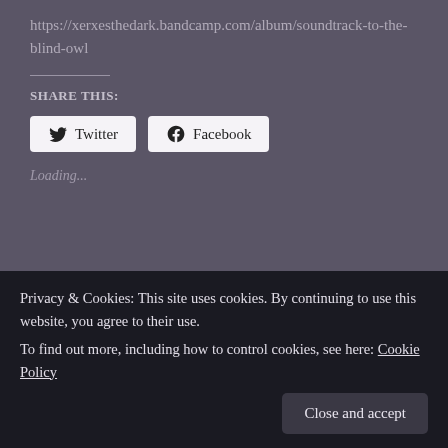https://xerxesthedark.bandcamp.com/album/soundtrack-to-the-blind-owl
Share this:
Twitter  Facebook
Loading...
Top 10 Dark Ambient
Eyre Transmissions II:
Privacy & Cookies: This site uses cookies. By continuing to use this website, you agree to their use.
To find out more, including how to control cookies, see here: Cookie Policy
Close and accept
The Dark
November 2, 2019